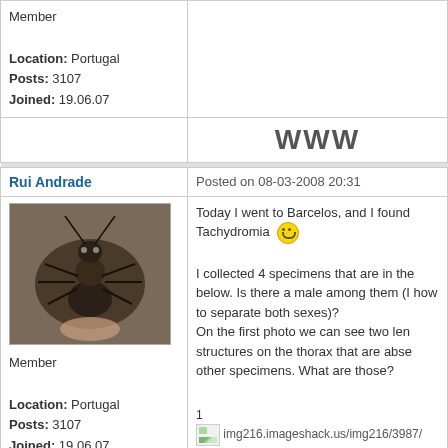| Member
Location: Portugal
Posts: 3107
Joined: 19.06.07 |  |
|  | WWW |
| Rui Andrade | Posted on 08-03-2008 20:31 |
| [avatar]
Member
Location: Portugal
Posts: 3107
Joined: 19.06.07 | Today I went to Barcelos, and I found Tachydromia :)

I collected 4 specimens that are in the below. Is there a male among them (I how to separate both sexes)?
On the first photo we can see two len structures on the thorax that are abse other specimens. What are those?

1
img216.imageshack.us/img216/3987/

2
img216.imageshack.us/img216/3182/

3
img216.imageshack.us/img216/6828/

4 |